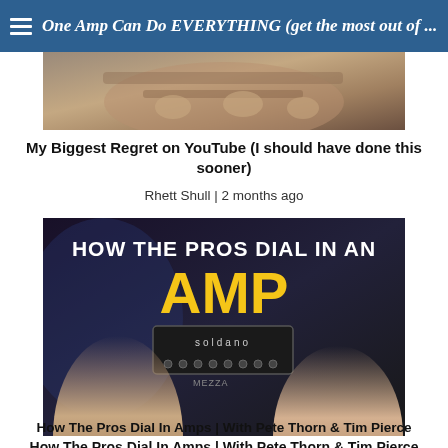One Amp Can Do EVERYTHING (get the most out of ...
[Figure (screenshot): Partial thumbnail showing guitar/hands, cropped at top]
My Biggest Regret on YouTube (I should have done this sooner)
Rhett Shull | 2 months ago
[Figure (screenshot): YouTube thumbnail: How The Pros Dial In An Amp with Pete Thorn and Tim Pierce, featuring Soldano amp, white bold text on dark background, AMP in yellow]
How The Pros Dial In Amps | With Pete Thorn & Tim Pierce
Rhett Shull | 2 months ago
[Figure (screenshot): Partial YouTube thumbnail showing BEGINNER / PRO text with red arrow, guitar fretboard visible at bottom]